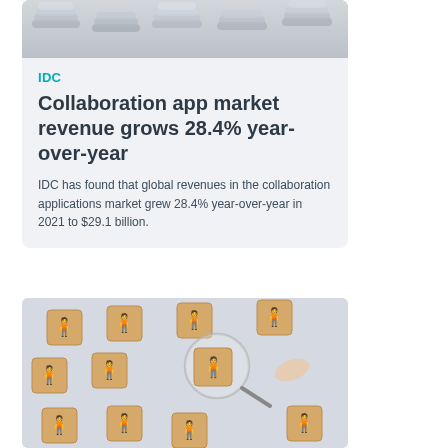[Figure (photo): Close-up photo of stacked coins on a light surface]
IDC
Collaboration app market revenue grows 28.4% year-over-year
IDC has found that global revenues in the collaboration applications market grew 28.4% year-over-year in 2021 to $29.1 billion.
[Figure (photo): Wooden blocks with person icons arranged in a circle, with a hand holding a magnifying glass over one red person icon, on a light blue background]